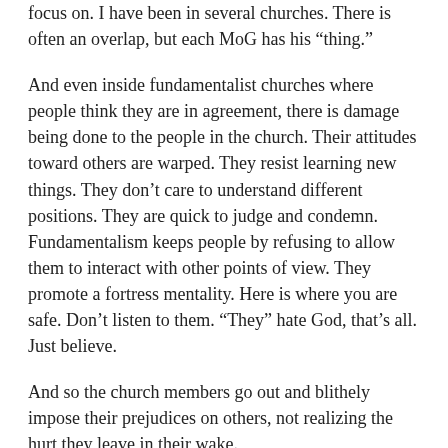focus on. I have been in several churches. There is often an overlap, but each MoG has his “thing.”
And even inside fundamentalist churches where people think they are in agreement, there is damage being done to the people in the church. Their attitudes toward others are warped. They resist learning new things. They don’t care to understand different positions. They are quick to judge and condemn. Fundamentalism keeps people by refusing to allow them to interact with other points of view. They promote a fortress mentality. Here is where you are safe. Don’t listen to them. “They” hate God, that’s all. Just believe.
And so the church members go out and blithely impose their prejudices on others, not realizing the hurt they leave in their wake.